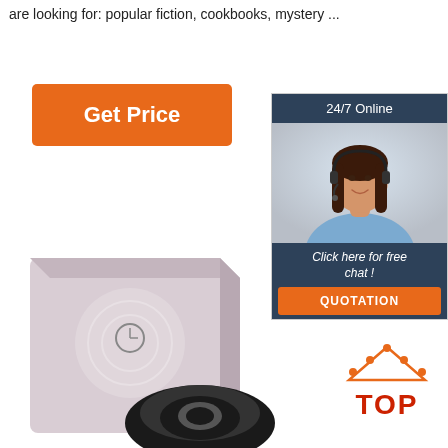are looking for: popular fiction, cookbooks, mystery ...
[Figure (other): Orange 'Get Price' button]
[Figure (other): Customer support chat widget with '24/7 Online' header, photo of woman with headset, 'Click here for free chat!' text, and orange QUOTATION button]
[Figure (other): Product image showing a box and a black ring device at the bottom of the page]
[Figure (other): Orange and red TOP icon with dots forming an upward arrow above the text TOP]